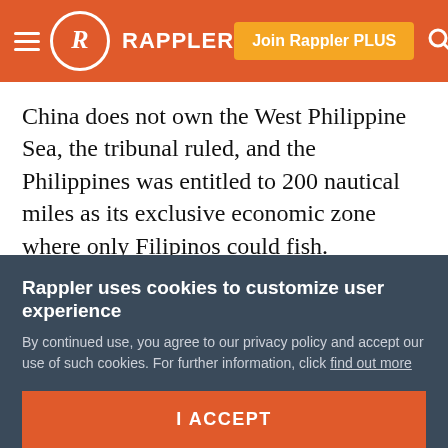RAPPLER
China does not own the West Philippine Sea, the tribunal ruled, and the Philippines was entitled to 200 nautical miles as its exclusive economic zone where only Filipinos could fish.
More importantly, Scarborough Shoal does not belong to China. Although the tribunal could not rule on which country owns it, it did say the shoal is a traditional fishing ground of any nationality that has long depended on its bounty including, of course,
Rappler uses cookies to customize user experience
By continued use, you agree to our privacy policy and accept our use of such cookies. For further information, click find out more
I ACCEPT